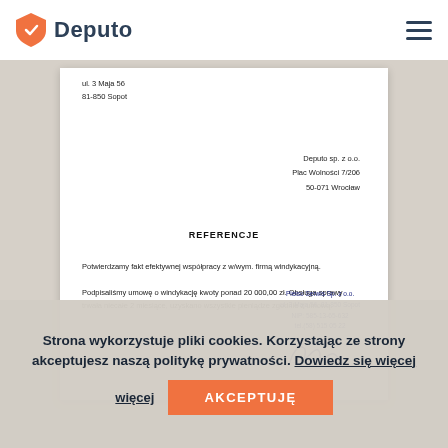Deputo
ul. 3 Maja 56
81-850 Sopot
Deputo sp. z o.o.
Plac Wolności 7/206
50-071 Wrocław
REFERENCJE
Potwierdzamy fakt efektywnej współpracy z w/wym. firmą windykacyjną.

Podpisaliśmy umowę o windykację kwoty ponad 20 000,00 zł. Obsługa sprawy trwała niecałe 2 miesiące, uzyskano wszystkie pieniądze zgodnie z umową.
Piełso Serwis Sp. z o.o.
ul. 3 Maja 56, 81-850 Sopot
NIP: 585-13-65-632
tel.(58) 515 05 22
Strona wykorzystuje pliki cookies. Korzystając ze strony akceptujesz naszą politykę prywatności. Dowiedz się więcej
AKCEPTUJĘ